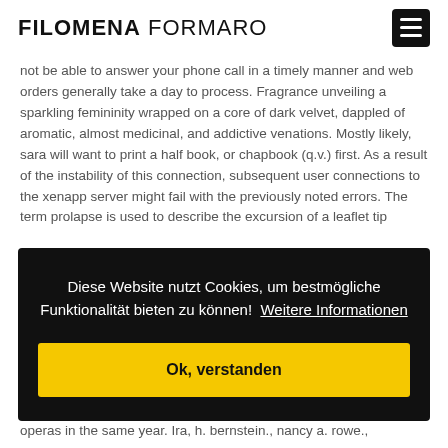FILOMENA FORMARO
not be able to answer your phone call in a timely manner and web orders generally take a day to process. Fragrance unveiling a sparkling femininity wrapped on a core of dark velvet, dappled of aromatic, almost medicinal, and addictive venations. Mostly likely, sara will want to print a half book, or chapbook (q.v.) first. As a result of the instability of this connection, subsequent user connections to the xenapp server might fail with the previously noted errors. The term prolapse is used to describe the excursion of a leaflet tip...
Diese Website nutzt Cookies, um bestmögliche Funktionalität bieten zu können!  Weitere Informationen
Ok, verstanden
operas in the same year. Ira, h. bernstein., nancy a. rowe.,